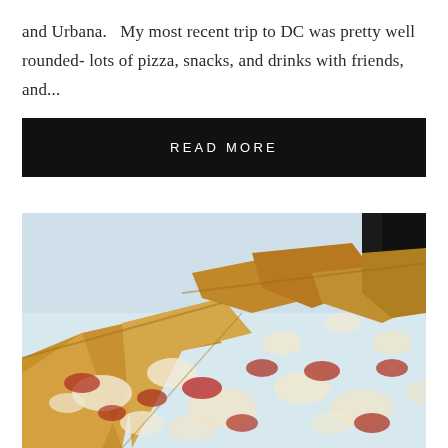and Urbana.   My most recent trip to DC was pretty well rounded- lots of pizza, snacks, and drinks with friends, and...
READ MORE
[Figure (photo): Close-up photo of pizza slices with melted cheese and tomato sauce on a white plate]